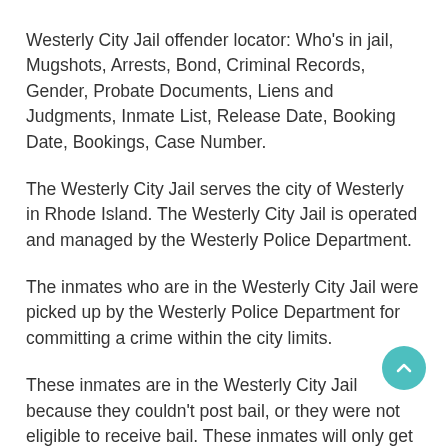Westerly City Jail offender locator: Who's in jail, Mugshots, Arrests, Bond, Criminal Records, Gender, Probate Documents, Liens and Judgments, Inmate List, Release Date, Booking Date, Bookings, Case Number.
The Westerly City Jail serves the city of Westerly in Rhode Island. The Westerly City Jail is operated and managed by the Westerly Police Department.
The inmates who are in the Westerly City Jail were picked up by the Westerly Police Department for committing a crime within the city limits.
These inmates are in the Westerly City Jail because they couldn't post bail, or they were not eligible to receive bail. These inmates will only get out of the Westerly City Jail once they see a judge or they will get transferred off to the county